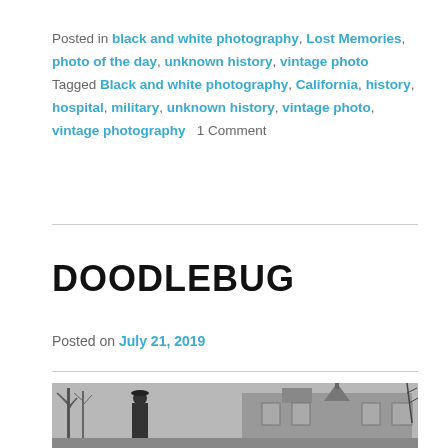Posted in black and white photography, Lost Memories, photo of the day, unknown history, vintage photo   Tagged Black and white photography, California, history, hospital, military, unknown history, vintage photo, vintage photography   1 Comment
DOODLEBUG
Posted on July 21, 2019
[Figure (photo): Vintage black and white photograph showing a person standing outdoors near a building with bare trees in the background.]